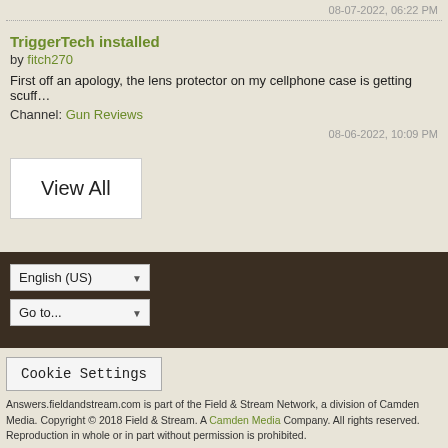08-07-2022, 06:22 PM
TriggerTech installed
by fitch270
First off an apology, the lens protector on my cellphone case is getting scuff…
Channel: Gun Reviews
08-06-2022, 10:09 PM
View All
English (US)
Go to...
Cookie Settings
Answers.fieldandstream.com is part of the Field & Stream Network, a division of Camden Media. Copyright © 2018 Field & Stream. A Camden Media Company. All rights reserved. Reproduction in whole or in part without permission is prohibited.